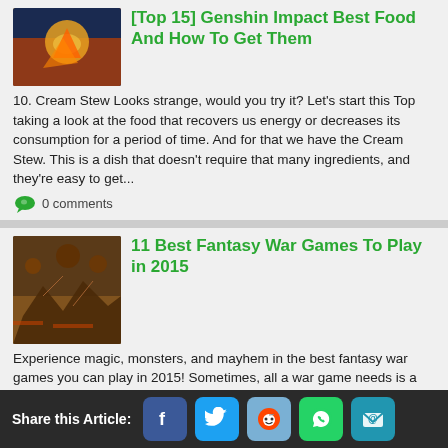[Top 15] Genshin Impact Best Food And How To Get Them
10. Cream Stew Looks strange, would you try it? Let's start this Top taking a look at the food that recovers us energy or decreases its consumption for a period of time. And for that we have the Cream Stew. This is a dish that doesn't require that many ingredients, and they're easy to get...
0 comments
11 Best Fantasy War Games To Play in 2015
Experience magic, monsters, and mayhem in the best fantasy war games you can play in 2015! Sometimes, all a war game needs is a little magic. Like, spells-that-can-turn-you-inside-out kind of magic. Or fire-breathing dragons that can turn soldiers into armies of burnt matchsticks. You have to...
0 comments
Share this Article: